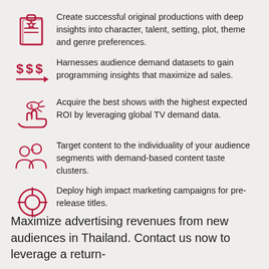Create successful original productions with deep insights into character, talent, setting, plot, theme and genre preferences.
Harnesses audience demand datasets to gain programming insights that maximize ad sales.
Acquire the best shows with the highest expected ROI by leveraging global TV demand data.
Target content to the individuality of your audience segments with demand-based content taste clusters.
Deploy high impact marketing campaigns for pre-release titles.
Maximize advertising revenues from new audiences in Thailand. Contact us now to leverage a return-